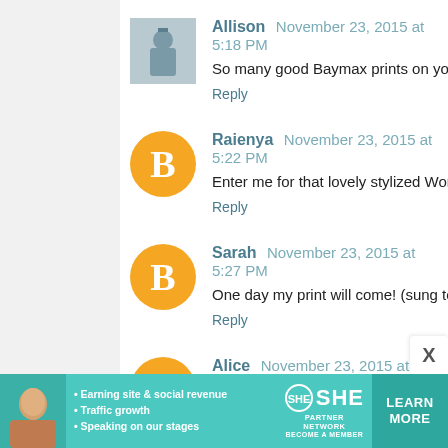Allison  November 23, 2015 at 5:18 PM
So many good Baymax prints on your giveaway board!
Reply
Raienya  November 23, 2015 at 5:22 PM
Enter me for that lovely stylized Wonder Woman. Though th
Reply
Sarah  November 23, 2015 at 5:27 PM
One day my print will come! (sung to the tune one day my p
Reply
Alice  November 23, 2015 at 5:33 PM
Nice! I really like the Marvel roundup.
Reply
[Figure (photo): SHE Partner Network advertisement banner with bullet points about earning site & social revenue, traffic growth, speaking on our stages, SHE logo, and LEARN MORE button]